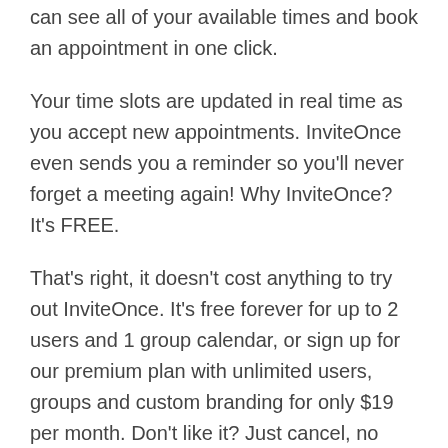can see all of your available times and book an appointment in one click.
Your time slots are updated in real time as you accept new appointments. InviteOnce even sends you a reminder so you'll never forget a meeting again! Why InviteOnce? It's FREE.
That's right, it doesn't cost anything to try out InviteOnce. It's free forever for up to 2 users and 1 group calendar, or sign up for our premium plan with unlimited users, groups and custom branding for only $19 per month. Don't like it? Just cancel, no questions asked!